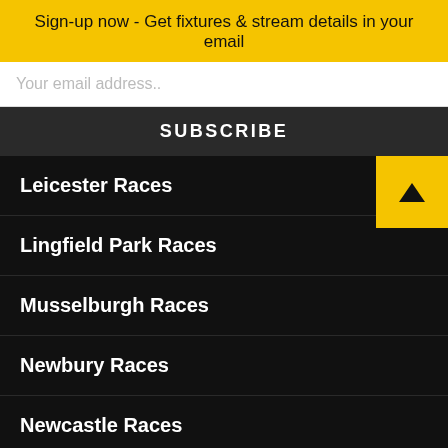Sign-up now - Get fixtures & stream details in your email
Your email address..
SUBSCRIBE
Leicester Races
Lingfield Park Races
Musselburgh Races
Newbury Races
Newcastle Races
This website uses cookies to improve your experience. We'll assume you're ok with this, but you can opt-out if you wish.
Accept
Read More